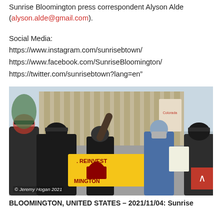Sunrise Bloomington press correspondent Alyson Alde (alyson.alde@gmail.com).
Social Media:
https://www.instagram.com/sunrisebtown/
https://www.facebook.com/SunriseBloomington/
https://twitter.com/sunrisebtown?lang=en”
[Figure (photo): Outdoor scene showing people in graduation gowns and caps, some holding a yellow banner that reads 'REINVEST... MINGTON', with a masked person in a denim jacket visible. A large building with vertical columns is in the background. Photo credit: © Jeremy Hogan 2021]
BLOOMINGTON, UNITED STATES – 2021/11/04: Sunrise